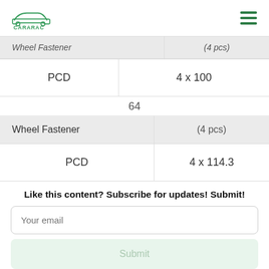CARARAC
| Wheel Fastener | (4 pcs) |
| --- | --- |
| PCD | 4 x 100 |
64
| Wheel Fastener | (4 pcs) |
| --- | --- |
| PCD | 4 x 114.3 |
65
Like this content? Subscribe for updates! Submit!